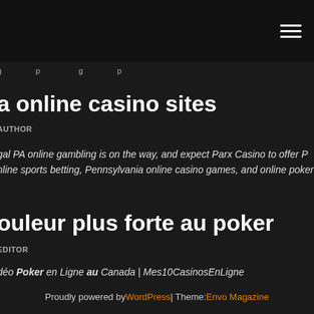a online casino sites
AUTHOR
gal PA online gambling is on the way, and expect Parx Casino to offer P nline sports betting, Pennsylvania online casino games, and online poker .
ouleur plus forte au poker
EDITOR
déo Poker en Ligne au Canada | Mes10CasinosEnLigne
Proudly powered by WordPress | Theme: Envo Magazine